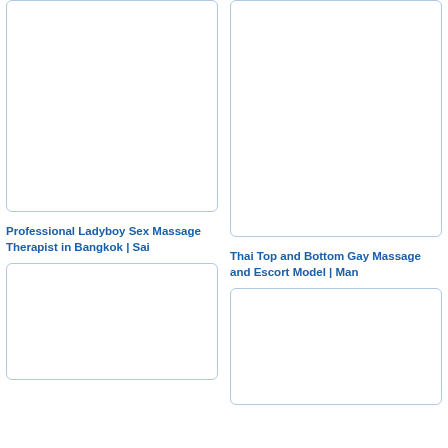[Figure (photo): Blank/white image placeholder, top-left card]
[Figure (photo): Blank/white image placeholder, top-right card]
Professional Ladyboy Sex Massage Therapist in Bangkok | Sai
Thai Top and Bottom Gay Massage and Escort Model | Man
[Figure (photo): Blank/white image placeholder, bottom-left card]
[Figure (photo): Blank/white image placeholder, bottom-right card]